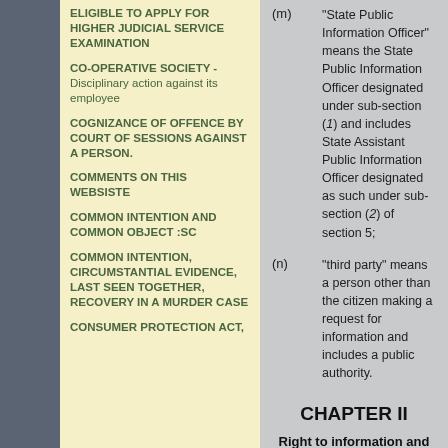ELIGIBLE TO APPLY FOR HIGHER JUDICIAL SERVICE EXAMINATION
CO-OPERATIVE SOCIETY - Disciplinary action against its employee
COGNIZANCE OF OFFENCE BY COURT OF SESSIONS AGAINST A PERSON.
COMMENTS ON THIS WEBSISTE
COMMON INTENTION AND COMMON OBJECT :SC
COMMON INTENTION, CIRCUMSTANTIAL EVIDENCE, LAST SEEN TOGETHER, RECOVERY IN A MURDER CASE
CONSUMER PROTECTION ACT,
(m) "State Public Information Officer" means the State Public Information Officer designated under sub-section (1) and includes State Assistant Public Information Officer designated as such under sub-section (2) of section 5;
(n) "third party" means a person other than the citizen making a request for information and includes a public authority.
CHAPTER II
Right to information and obligations of public authorities
3   Subject to the provisions of this Act, all citizens shall be entitled to